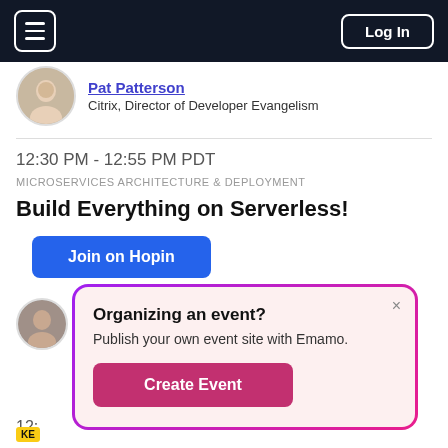[Figure (screenshot): Navigation bar with hamburger menu icon on left and Log In button on right, dark background]
Pat Patterson
Citrix, Director of Developer Evangelism
12:30 PM - 12:55 PM PDT
MICROSERVICES ARCHITECTURE & DEPLOYMENT
Build Everything on Serverless!
Join on Hopin
Divakar Kumar
Organizing an event?
Publish your own event site with Emamo.
Create Event
12:
KE